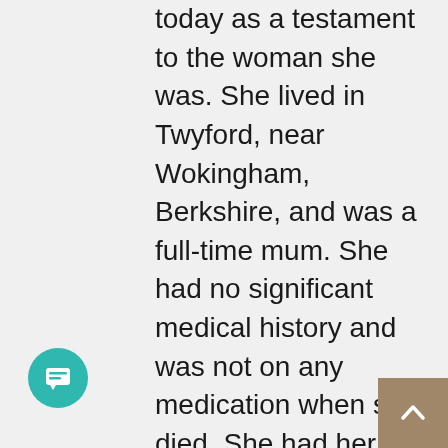today as a testament to the woman she was. She lived in Twyford, near Wokingham, Berkshire, and was a full-time mum. She had no significant medical history and was not on any medication when she died. She had her first Pfizer vaccine on 4 June 2021, and evidence after that shows her periods became irregular.

She also reported pains in her arm and her jaw. 15 June 2021 was a normal day for her. There is no evidence she was ill that day. She walked her son to school in the morning and went to get coffee with